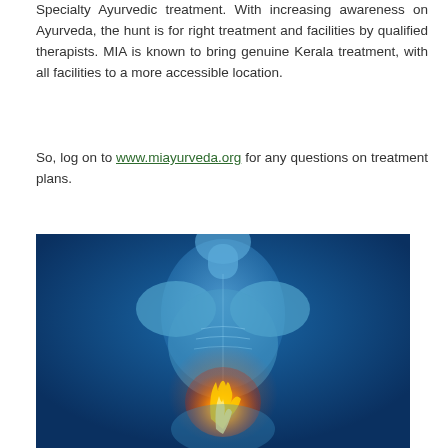Specialty Ayurvedic treatment. With increasing awareness on Ayurveda, the hunt is for right treatment and facilities by qualified therapists. MIA is known to bring genuine Kerala treatment, with all facilities to a more accessible location.
So, log on to www.miayurveda.org for any questions on treatment plans.
[Figure (photo): Medical illustration of a translucent blue human torso showing internal organs, with a glowing orange/yellow fire-like area at the stomach/abdomen region, suggesting gastric issues or heartburn, against a blue background.]